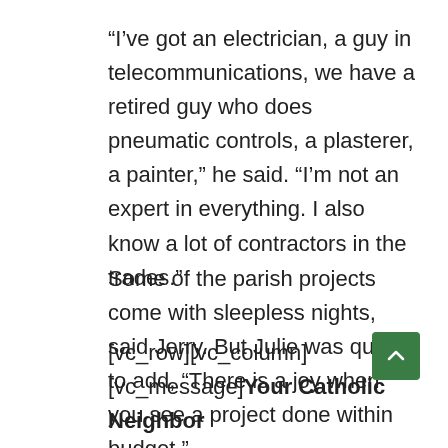“I’ve got an electrician, a guy in telecommunications, we have a retired guy who does pneumatic controls, a plasterer, a painter,” he said. “I’m not an expert in everything. I also know a lot of contractors in the trades.”
Some of the parish projects come with sleepless nights, said Jerry. But Julie was quick to add, “There is a joy when you see a project done within budget.”
[vc_row][vc_column][vc_message]Your Catholic Neighbor